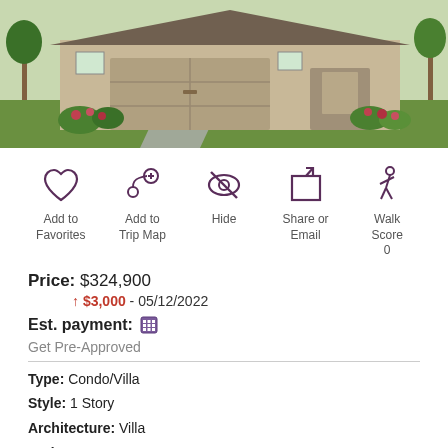[Figure (photo): Exterior photo of a single-story suburban home with brick facade, beige garage door, landscaped front yard with flowers and green lawn]
[Figure (infographic): Five action icons: heart (Add to Favorites), map pin with plus (Add to Trip Map), crossed-out eye (Hide), share arrow box (Share or Email), walking person (Walk Score 0)]
Price: $324,900
↑ $3,000 - 05/12/2022
Est. payment: [calculator icon]
Get Pre-Approved
Type: Condo/Villa
Style: 1 Story
Architecture: Villa
Beds: 2